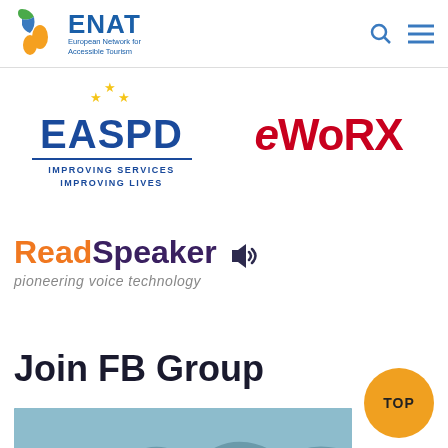ENAT — European Network for Accessible Tourism
[Figure (logo): EASPD logo — bold blue EASPD text with yellow stars, blue line, tagline IMPROVING SERVICES IMPROVING LIVES]
[Figure (logo): eWorx logo in dark red italic lettering]
[Figure (logo): ReadSpeaker logo — orange 'Read' + purple 'Speaker' with speaker icon, tagline 'pioneering voice technology']
Join FB Group
[Figure (photo): Group of people outdoors, possibly near a lake or mountain landscape]